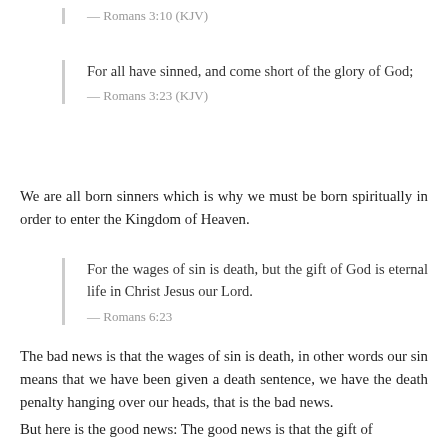— Romans 3:10 (KJV)
For all have sinned, and come short of the glory of God;
— Romans 3:23 (KJV)
We are all born sinners which is why we must be born spiritually in order to enter the Kingdom of Heaven.
For the wages of sin is death, but the gift of God is eternal life in Christ Jesus our Lord.
— Romans 6:23
The bad news is that the wages of sin is death, in other words our sin means that we have been given a death sentence, we have the death penalty hanging over our heads, that is the bad news.
But here is the good news: The good news is that the gift of